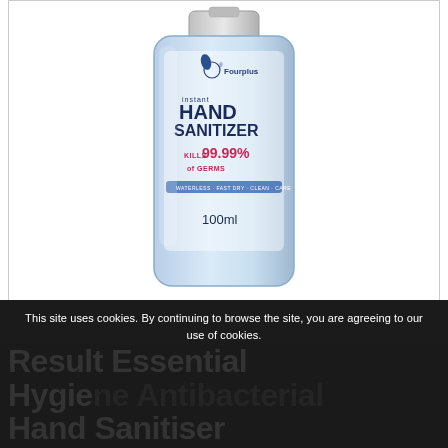[Figure (photo): A Fourplus Instant Hand Sanitizer bottle (100ml, kills 99.99% of germs) photographed against a white background inside a bordered container.]
This site uses cookies. By continuing to browse the site, you are agreeing to our use of cookies.
Accept settings | Hide notification only | Settings
Result Essential Hygiene Antibacterial Hand Sanitiser